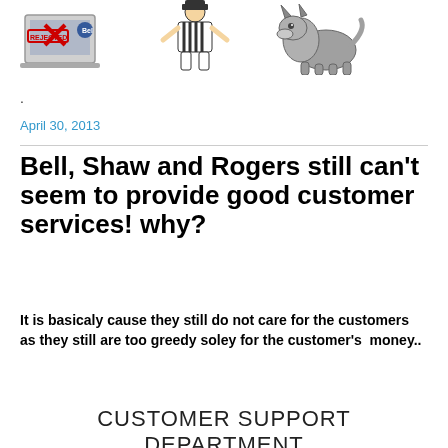[Figure (illustration): Three cartoon/illustration images in a row: a laptop with rejected content and red X marks, a cartoon prisoner/burglar figure, and a wolf illustration]
.
April 30, 2013
Bell, Shaw and Rogers still can't seem to provide good customer services! why?
It is basicaly cause they still do not care for the customers as they still are too greedy soley for the customer's  money..
CUSTOMER SUPPORT DEPARTMENT